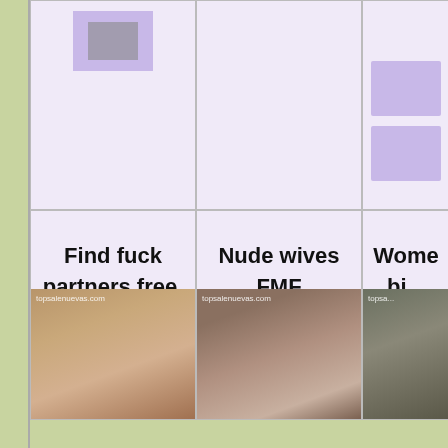[Figure (screenshot): Grid of web page cells. Top-left cell has a purple thumbnail. Top-middle and top-right cells are mostly empty with purple blocks on right. Bottom-left cell has bold text 'Find fuck partners free.' and a photo below. Bottom-middle has 'Nude wives FMF threesome rules.' with photo. Bottom-right partially visible with 'Wome... bi...' text and photo.]
Find fuck partners free.
Nude wives FMF threesome rules.
Wome... bi...